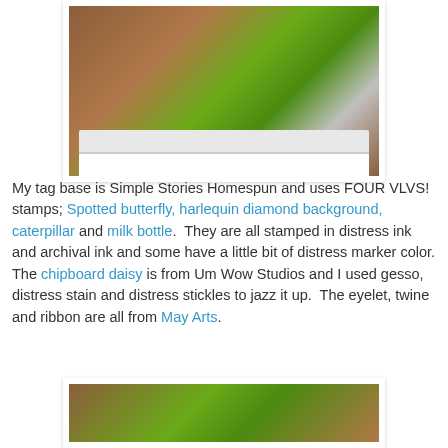[Figure (photo): Close-up photo of a handmade tag with green caterpillar and milk bottle stamps on a harlequin diamond background, with white lace ribbon trim, placed on a wooden surface.]
My tag base is Simple Stories Homespun and uses FOUR VLVS! stamps; Spotted butterfly, harlequin diamond background, caterpillar and milk bottle.  They are all stamped in distress ink and archival ink and some have a little bit of distress marker color.
The chipboard daisy is from Um Wow Studios and I used gesso, distress stain and distress stickles to jazz it up.  The eyelet, twine and ribbon are all from May Arts.
[Figure (photo): Partial photo of handmade craft project on a wooden surface, showing green and black stamped elements.]